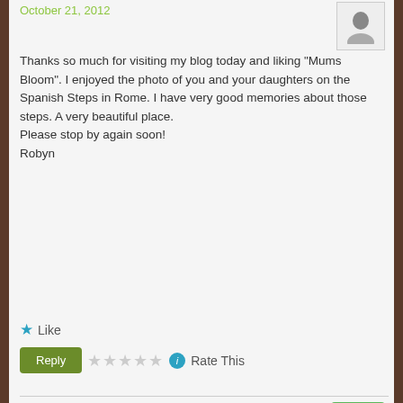October 21, 2012
Thanks so much for visiting my blog today and liking “Mums Bloom”. I enjoyed the photo of you and your daughters on the Spanish Steps in Rome. I have very good memories about those steps. A very beautiful place.
Please stop by again soon!
Robyn
★ Like
Reply   ☆☆☆☆☆  Rate This
Globe Runner
October 21, 2012
Advertisements
[Figure (screenshot): Longreads advertisement banner: black background with Longreads logo and tagline 'Read anything great lately?']